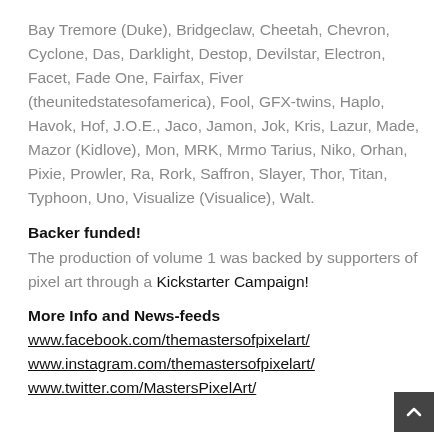Bay Tremore (Duke), Bridgeclaw, Cheetah, Chevron, Cyclone, Das, Darklight, Destop, Devilstar, Electron, Facet, Fade One, Fairfax, Fiver (theunitedstatesofamerica), Fool, GFX-twins, Haplo, Havok, Hof, J.O.E., Jaco, Jamon, Jok, Kris, Lazur, Made, Mazor (Kidlove), Mon, MRK, Mrmo Tarius, Niko, Orhan, Pixie, Prowler, Ra, Rork, Saffron, Slayer, Thor, Titan, Typhoon, Uno, Visualize (Visualice), Walt.
Backer funded!
The production of volume 1 was backed by supporters of pixel art through a Kickstarter Campaign!
More Info and News-feeds
www.facebook.com/themastersofpixelart/
www.instagram.com/themastersofpixelart/
www.twitter.com/MastersPixelArt/